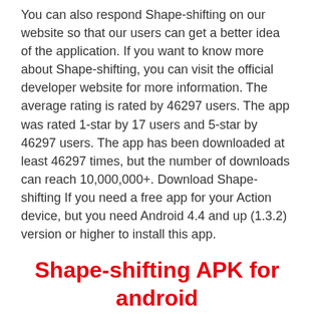You can also respond Shape-shifting on our website so that our users can get a better idea of the application. If you want to know more about Shape-shifting, you can visit the official developer website for more information. The average rating is rated by 46297 users. The app was rated 1-star by 17 users and 5-star by 46297 users. The app has been downloaded at least 46297 times, but the number of downloads can reach 10,000,000+. Download Shape-shifting If you need a free app for your Action device, but you need Android 4.4 and up (1.3.2) version or higher to install this app.
Shape-shifting APK for android
[Figure (photo): Partial image of Shape-shifting app screenshot, cropped at bottom of page]